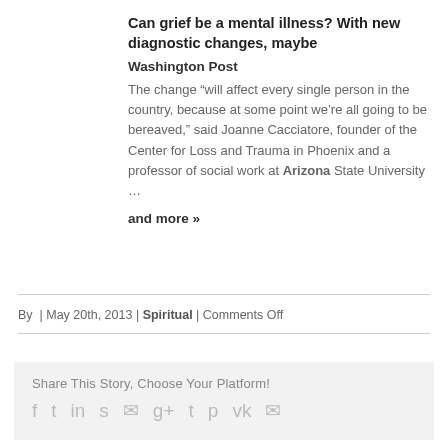Can grief be a mental illness? With new diagnostic changes, maybe
Washington Post
The change “will affect every single person in the country, because at some point we’re all going to be bereaved,” said Joanne Cacciatore, founder of the Center for Loss and Trauma in Phoenix and a professor of social work at Arizona State University …
and more »
By  | May 20th, 2013 | Spiritual | Comments Off
Share This Story, Choose Your Platform!